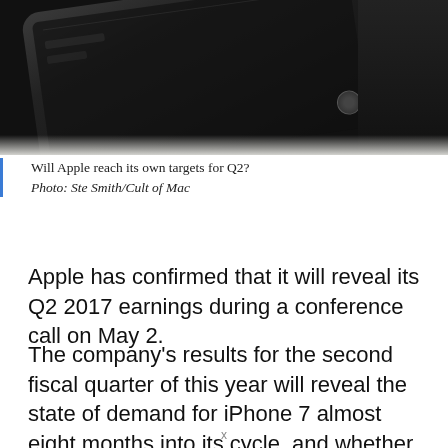[Figure (photo): Close-up photo of a black iPhone (iPhone 7) on a white surface, angled, showing the screen and home button area.]
Will Apple reach its own targets for Q2?
Photo: Ste Smith/Cult of Mac
Apple has confirmed that it will reveal its Q2 2017 earnings during a conference call on May 2.
The company’s results for the second fiscal quarter of this year will reveal the state of demand for iPhone 7 almost eight months into its cycle, and whether there is still plenty of excitement for the
x